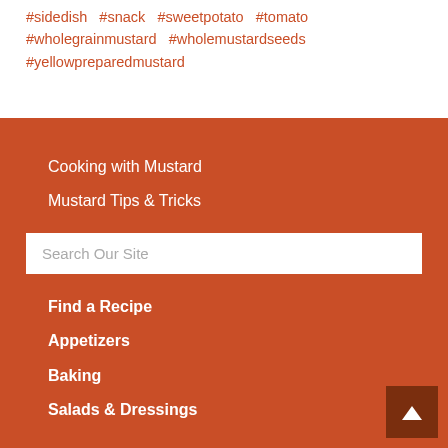#sidedish  #snack  #sweetpotato  #tomato  #wholegrainmustard  #wholemustardseeds  #yellowpreparedmustard
Cooking with Mustard
Mustard Tips & Tricks
Search Our Site
Find a Recipe
Appetizers
Baking
Salads & Dressings